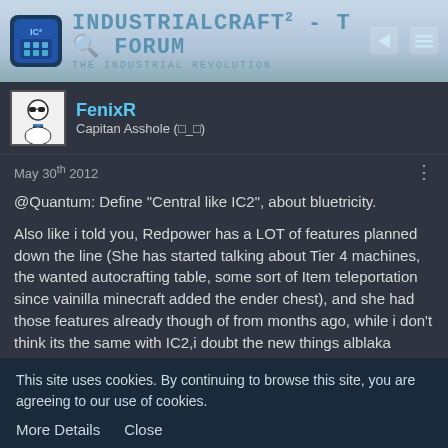IndustrialCraft² - The Forum · The Industrial Revolution
FenixR
Capitan Asshole (□_□)
May 30th 2012
@Quantum: Define "Central like IC2", about bluetricity.

Also like i told you, Redpower has a LOT of features planned down the line (She has started talking about Tier 4 machines, the wanted autocrafting table, some sort of Item teleportation since vainilla minecraft added the ender chest), and she had those features already though of from months ago, while i don't think its the same with IC2,i doubt the new things alblaka "Barely" mentioned have been "under plans" for less that a few weeks after
This site uses cookies. By continuing to browse this site, you are agreeing to our use of cookies.
More Details   Close